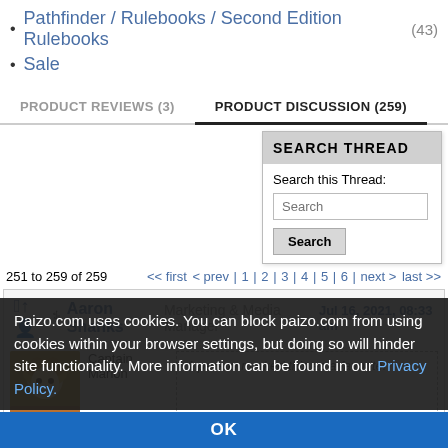Pathfinder / Rulebooks / Second Edition Rulebooks (43)
Sale
PRODUCT REVIEWS (3)   PRODUCT DISCUSSION (259)
SEARCH THREAD
Search this Thread:
Search
251 to 259 of 259   << first < prev | 1 | 2 | 3 | 4 | 5 | 6 | next > last >>
Aaron Shanks Marketing & Media Manager
Jul 16, 2021, 08:33 am
Captain
1 person marked this as a favorite.
Paizo.com uses cookies. You can block paizo.com from using cookies within your browser settings, but doing so will hinder site functionality. More information can be found in our Privacy Policy.
OK